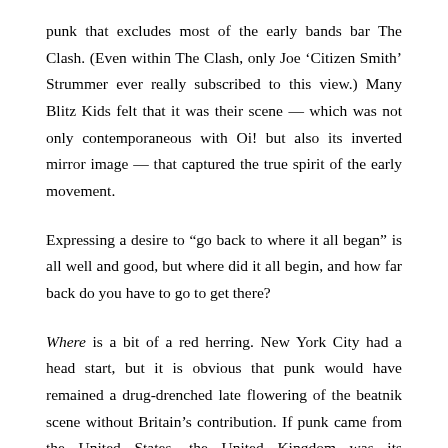punk that excludes most of the early bands bar The Clash. (Even within The Clash, only Joe ‘Citizen Smith’ Strummer ever really subscribed to this view.) Many Blitz Kids felt that it was their scene — which was not only contemporaneous with Oi! but also its inverted mirror image — that captured the true spirit of the early movement.
Expressing a desire to “go back to where it all began” is all well and good, but where did it all begin, and how far back do you have to go to get there?
Where is a bit of a red herring. New York City had a head start, but it is obvious that punk would have remained a drug-drenched late flowering of the beatnik scene without Britain’s contribution. If punk came from the United States, the United Kingdom was its destination: its manifest